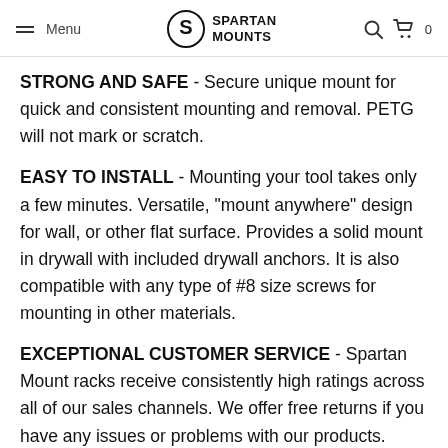Menu | SPARTAN MOUNTS
STRONG AND SAFE - Secure unique mount for quick and consistent mounting and removal. PETG will not mark or scratch.
EASY TO INSTALL - Mounting your tool takes only a few minutes. Versatile, "mount anywhere" design for wall, or other flat surface. Provides a solid mount in drywall with included drywall anchors. It is also compatible with any type of #8 size screws for mounting in other materials.
EXCEPTIONAL CUSTOMER SERVICE - Spartan Mount racks receive consistently high ratings across all of our sales channels. We offer free returns if you have any issues or problems with our products.
LIFETIME WARRANTY - If it breaks for any reason, we will replace it.